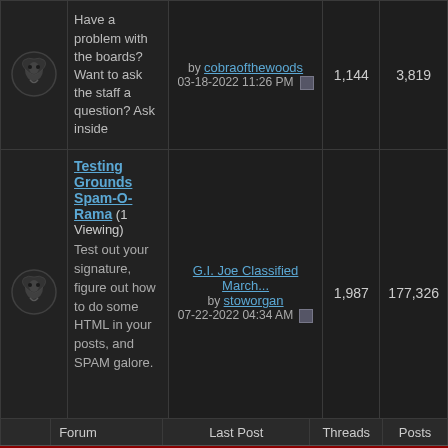|  | Forum | Last Post | Threads | Posts |
| --- | --- | --- | --- | --- |
| [icon] | Have a problem with the boards? Want to ask the staff a question? Ask inside | by cobraofthewoods
03-18-2022 11:26 PM | 1,144 | 3,819 |
| [icon] | Testing Grounds Spam-O-Rama (1 Viewing)
Test out your signature, figure out how to do some HTML in your posts, and SPAM galore. | G.I. Joe Classified March...
by stoworgan
07-22-2022 04:34 AM | 1,987 | 177,326 |
|  | Forum | Last Post | Threads | Posts |
| --- | --- | --- | --- | --- |
HISSTANK SUPPORTERS
Where friends of the Tank come to hang out and chill.